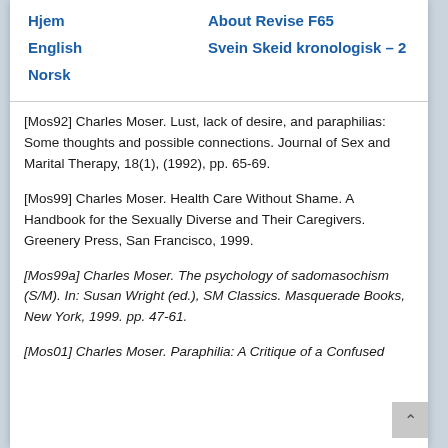Hjem    About Revise F65
English    Svein Skeid kronologisk – 2
Norsk
[Mos92] Charles Moser. Lust, lack of desire, and paraphilias: Some thoughts and possible connections. Journal of Sex and Marital Therapy, 18(1), (1992), pp. 65-69.
[Mos99] Charles Moser. Health Care Without Shame. A Handbook for the Sexually Diverse and Their Caregivers. Greenery Press, San Francisco, 1999.
[Mos99a] Charles Moser. The psychology of sadomasochism (S/M). In: Susan Wright (ed.), SM Classics. Masquerade Books, New York, 1999. pp. 47-61.
[Mos01] Charles Moser. Paraphilia: A Critique of a Confused